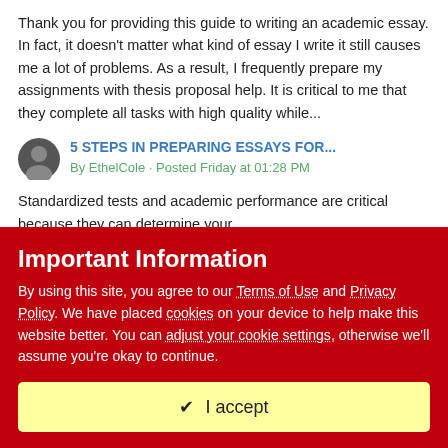Thank you for providing this guide to writing an academic essay. In fact, it doesn't matter what kind of essay I write it still causes me a lot of problems. As a result, I frequently prepare my assignments with thesis proposal help. It is critical to me that they complete all tasks with high quality while...
5 STEPS IN PREPARING ESSAYS FOR...
By EthelCole · Posted Friday at 01:28 PM
Standardized tests and academic performance are critical because they can determine your
Important Information
By using this site, you agree to our Terms of Use and Privacy Policy. We have placed cookies on your device to help make this website better. You can adjust your cookie settings, otherwise we'll assume you're okay to continue.
✔  I accept